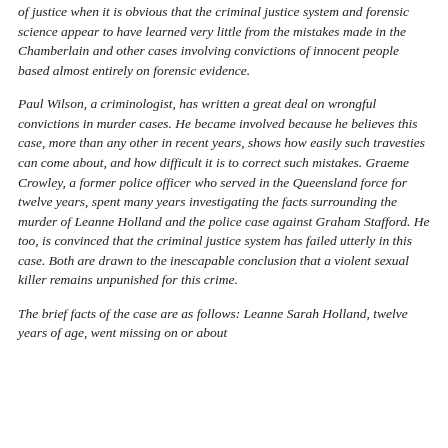of justice when it is obvious that the criminal justice system and forensic science appear to have learned very little from the mistakes made in the Chamberlain and other cases involving convictions of innocent people based almost entirely on forensic evidence.
Paul Wilson, a criminologist, has written a great deal on wrongful convictions in murder cases. He became involved because he believes this case, more than any other in recent years, shows how easily such travesties can come about, and how difficult it is to correct such mistakes. Graeme Crowley, a former police officer who served in the Queensland force for twelve years, spent many years investigating the facts surrounding the murder of Leanne Holland and the police case against Graham Stafford. He too, is convinced that the criminal justice system has failed utterly in this case. Both are drawn to the inescapable conclusion that a violent sexual killer remains unpunished for this crime.
The brief facts of the case are as follows: Leanne Sarah Holland, twelve years of age, went missing on or about